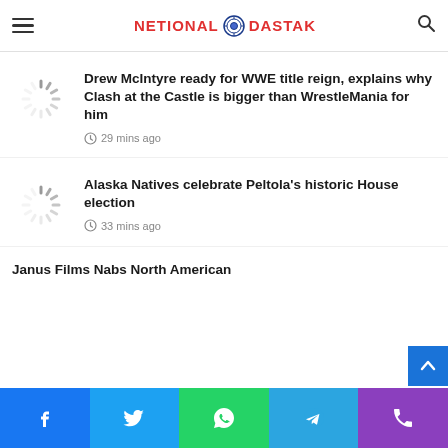NETIONAL DASTAK
Drew McIntyre ready for WWE title reign, explains why Clash at the Castle is bigger than WrestleMania for him
29 mins ago
Alaska Natives celebrate Peltola's historic House election
33 mins ago
Janus Films Nabs North American